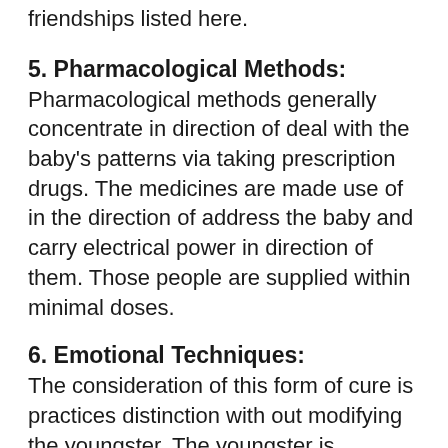friendships listed here.
5. Pharmacological Methods:
Pharmacological methods generally concentrate in direction of deal with the baby's patterns via taking prescription drugs. The medicines are made use of in the direction of address the baby and carry electrical power in direction of them. Those people are supplied within minimal doses.
6. Emotional Techniques:
The consideration of this form of cure is practices distinction with out modifying the youngster. The youngster is presented a clean route in the direction of engage with other people, for illustration, through taking in option requirements and techniques they